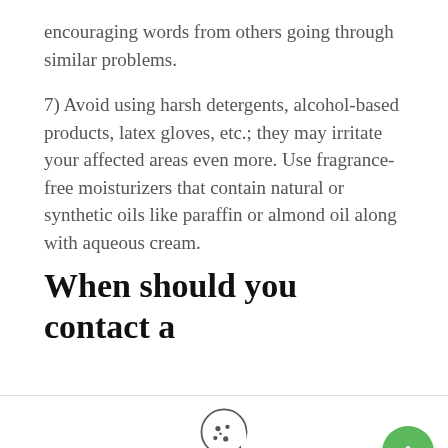encouraging words from others going through similar problems.
7) Avoid using harsh detergents, alcohol-based products, latex gloves, etc.; they may irritate your affected areas even more. Use fragrance-free moisturizers that contain natural or synthetic oils like paraffin or almond oil along with aqueous cream.
When should you contact a
Our site uses cookies. Learn more about our use of cookies: cookie policy
ACCEPT
REJECT